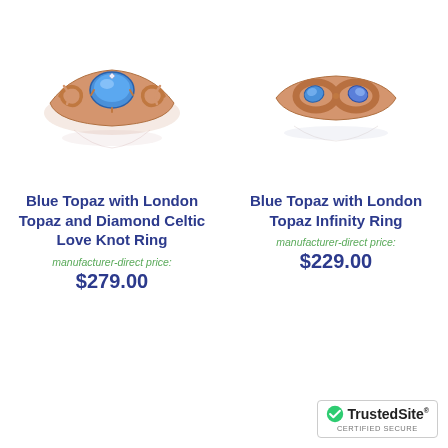[Figure (photo): Rose gold Celtic Love Knot ring with blue topaz and diamond center stone, photographed from above with reflection below]
[Figure (photo): Rose gold Infinity ring with blue topaz stones, photographed from above with reflection below]
Blue Topaz with London Topaz and Diamond Celtic Love Knot Ring
manufacturer-direct price:
$279.00
Blue Topaz with London Topaz Infinity Ring
manufacturer-direct price:
$229.00
[Figure (logo): TrustedSite certified secure badge with green checkmark]